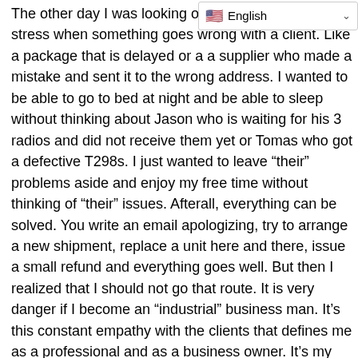The other day I was looking online to relieve from the stress when something goes wrong with a client. Like a package that is delayed or a a supplier who made a mistake and sent it to the wrong address. I wanted to be able to go to bed at night and be able to sleep without thinking about Jason who is waiting for his 3 radios and did not receive them yet or Tomas who got a defective T298s. I just wanted to leave “their” problems aside and enjoy my free time without thinking of “their” issues. Afterall, everything can be solved. You write an email apologizing, try to arrange a new shipment, replace a unit here and there, issue a small refund and everything goes well. But then I realized that I should not go that route. It is very danger if I become an “industrial” business man. It’s this constant empathy with the clients that defines me as a professional and as a business owner. It’s my passion for this job that turns itself into a hobby. If I don’t feel the pain that my clients feel when something goes wrong, then my business will never be successful.
This resolution shows me that being empathic with the clients, delivering all my genuine passion into all my business tasks will